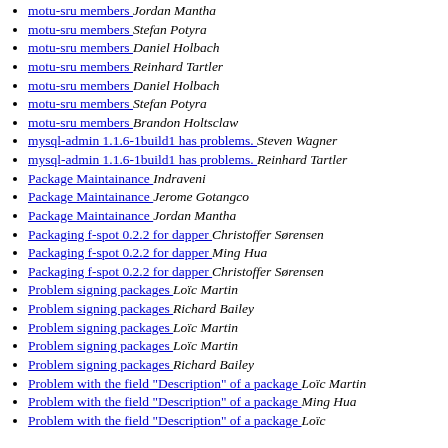motu-sru members   Jordan Mantha
motu-sru members   Stefan Potyra
motu-sru members   Daniel Holbach
motu-sru members   Reinhard Tartler
motu-sru members   Daniel Holbach
motu-sru members   Stefan Potyra
motu-sru members   Brandon Holtsclaw
mysql-admin 1.1.6-1build1 has problems.   Steven Wagner
mysql-admin 1.1.6-1build1 has problems.   Reinhard Tartler
Package Maintainance   Indraveni
Package Maintainance   Jerome Gotangco
Package Maintainance   Jordan Mantha
Packaging f-spot 0.2.2 for dapper   Christoffer Sørensen
Packaging f-spot 0.2.2 for dapper   Ming Hua
Packaging f-spot 0.2.2 for dapper   Christoffer Sørensen
Problem signing packages   Loïc Martin
Problem signing packages   Richard Bailey
Problem signing packages   Loïc Martin
Problem signing packages   Loïc Martin
Problem signing packages   Richard Bailey
Problem with the field "Description" of a package   Loïc Martin
Problem with the field "Description" of a package   Ming Hua
Problem with the field "Description" of a package   Loïc